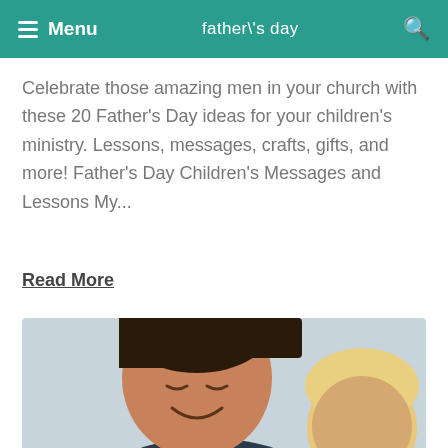Menu  father\'s day  🔍
Celebrate those amazing men in your church with these 20 Father's Day ideas for your children's ministry. Lessons, messages, crafts, gifts, and more! Father's Day Children's Messages and Lessons My...
Read More
[Figure (photo): A smiling man (father) hugging a young child with blonde hair, both appear joyful, photographed up close.]
Get free weekly resources from us!
Sign Up